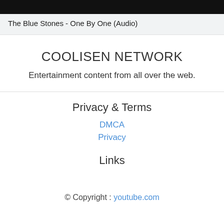[Figure (screenshot): Dark video thumbnail strip at the top of the page]
The Blue Stones - One By One (Audio)
COOLISEN NETWORK
Entertainment content from all over the web.
Privacy & Terms
DMCA
Privacy
Links
© Copyright : youtube.com